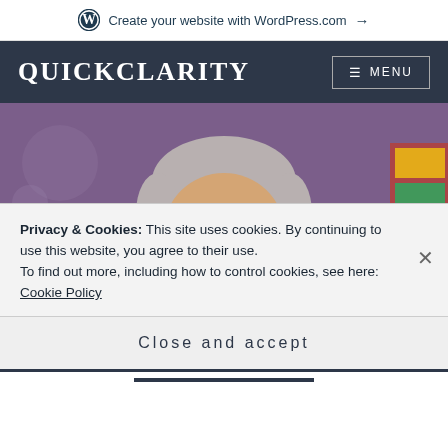Create your website with WordPress.com →
QUICKCLARITY
≡ MENU
[Figure (photo): Photo of Narendra Modi speaking at a podium with a microphone, hands raised, against a purple background.]
Privacy & Cookies: This site uses cookies. By continuing to use this website, you agree to their use.
To find out more, including how to control cookies, see here:
Cookie Policy
Close and accept